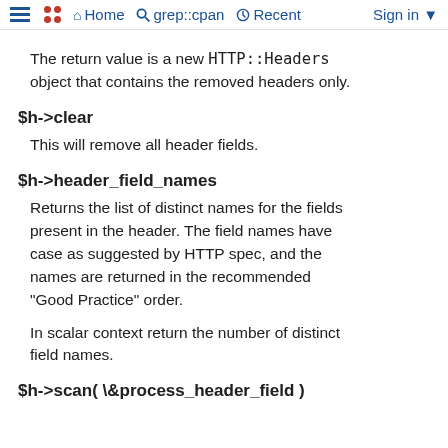≡  •• Home  🔍 grep::cpan  🕓 Recent  Sign in ▼
The return value is a new HTTP::Headers object that contains the removed headers only.
$h->clear
This will remove all header fields.
$h->header_field_names
Returns the list of distinct names for the fields present in the header. The field names have case as suggested by HTTP spec, and the names are returned in the recommended "Good Practice" order.
In scalar context return the number of distinct field names.
$h->scan( \&process_header_field )